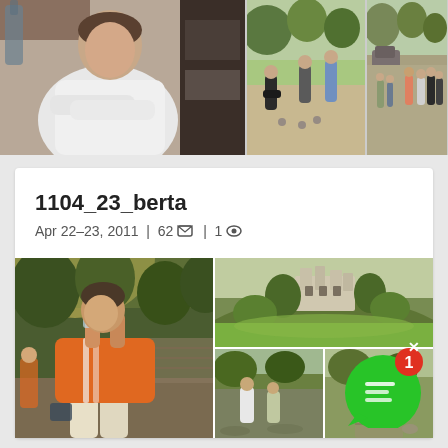[Figure (photo): Three photos at top: left shows person in white sweater with arms crossed, center shows people playing pétanque on outdoor court, right shows group of people on gravel area]
1104_23_berta
Apr 22–23, 2011 | 62 🖼 | 1 👁
[Figure (photo): Photo collage: left large photo of man in orange shirt drinking from glass, top right photo of castle on hill with green park below, bottom right two photos of people in outdoor park/competition setting with green chat notification badge overlay showing '1']